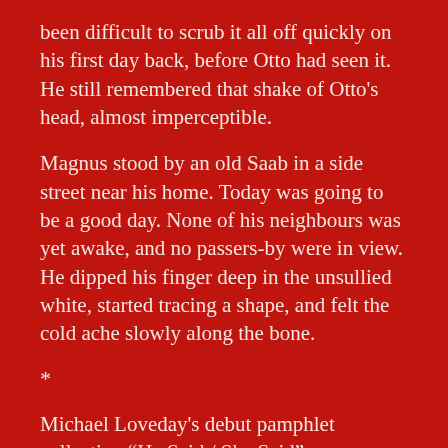been difficult to scrub it all off quickly on his first day back, before Otto had seen it. He still remembered that shake of Otto's head, almost imperceptible.
Magnus stood by an old Saab in a side street near his home. Today was going to be a good day. None of his neighbours was yet awake, and no passers-by were in view. He dipped his finger deep in the unsullied white, started tracing a shape, and felt the cold ache slowly along the bone.
*
Michael Loveday's debut pamphlet collection “He Said / She Said” was published by HappenStance Press (2011). His short stories, poems and critical reviews have been published in The Rialto, The North, Magma, Ambit, Flash: The International Short-Short Story Magazine,